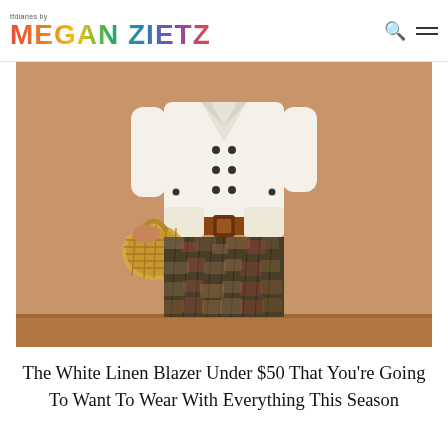tfdiaries by MEGAN ZIETZ
[Figure (photo): Fashion blog photo: person wearing a white double-breasted linen blazer belted with a brown leather belt, holding a woven straw bag, wearing a printed snake-pattern pleated maxi skirt, standing against a terracotta/sandy beige wall]
The White Linen Blazer Under $50 That You're Going To Want To Wear With Everything This Season